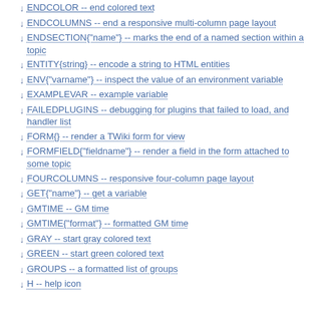ENDCOLOR -- end colored text
ENDCOLUMNS -- end a responsive multi-column page layout
ENDSECTION{"name"} -- marks the end of a named section within a topic
ENTITY{string} -- encode a string to HTML entities
ENV{"varname"} -- inspect the value of an environment variable
EXAMPLEVAR -- example variable
FAILEDPLUGINS -- debugging for plugins that failed to load, and handler list
FORM{} -- render a TWiki form for view
FORMFIELD{"fieldname"} -- render a field in the form attached to some topic
FOURCOLUMNS -- responsive four-column page layout
GET{"name"} -- get a variable
GMTIME -- GM time
GMTIME{"format"} -- formatted GM time
GRAY -- start gray colored text
GREEN -- start green colored text
GROUPS -- a formatted list of groups
H -- help icon